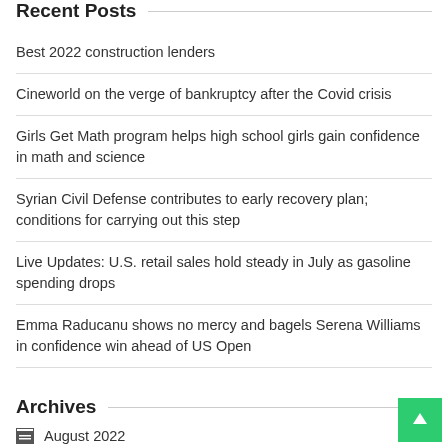Recent Posts
Best 2022 construction lenders
Cineworld on the verge of bankruptcy after the Covid crisis
Girls Get Math program helps high school girls gain confidence in math and science
Syrian Civil Defense contributes to early recovery plan; conditions for carrying out this step
Live Updates: U.S. retail sales hold steady in July as gasoline spending drops
Emma Raducanu shows no mercy and bagels Serena Williams in confidence win ahead of US Open
Archives
August 2022